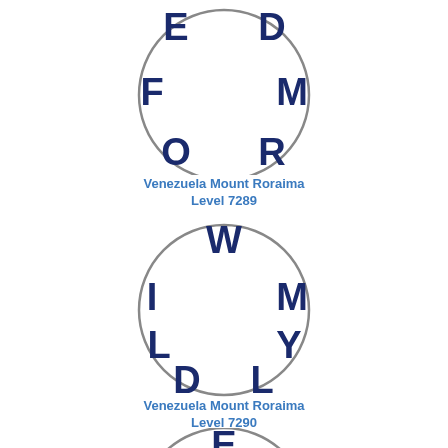[Figure (illustration): Circle puzzle with letters E, D, F, M, O, R arranged around the perimeter]
Venezuela Mount Roraima
Level 7289
[Figure (illustration): Circle puzzle with letters W, M, I, L, Y, D, L arranged around the perimeter]
Venezuela Mount Roraima
Level 7290
[Figure (illustration): Circle puzzle partially visible with letters E, N, T visible at top]